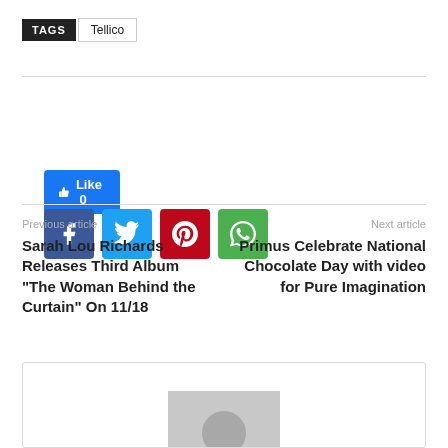TAGS  Tellico
[Figure (infographic): Like 0 button and social share buttons: Facebook (blue), Twitter (cyan), Pinterest (red), WhatsApp (green)]
Previous article
Sarah Lou Richards Releases Third Album "The Woman Behind the Curtain" On 11/18
Next article
Primus Celebrate National Chocolate Day with video for Pure Imagination
[Figure (photo): Author avatar placeholder: grey square with circle (person silhouette)]